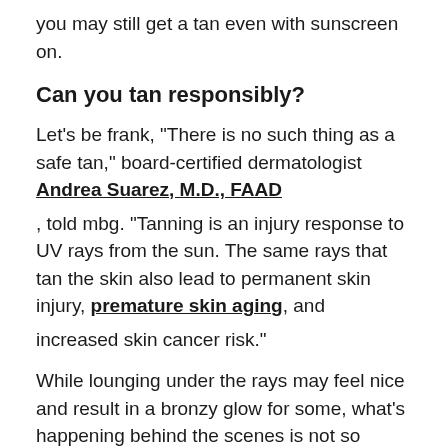you may still get a tan even with sunscreen on.
Can you tan responsibly?
Let's be frank, "There is no such thing as a safe tan," board-certified dermatologist Andrea Suarez, M.D., FAAD , told mbg. "Tanning is an injury response to UV rays from the sun. The same rays that tan the skin also lead to permanent skin injury, premature skin aging, and increased skin cancer risk."
While lounging under the rays may feel nice and result in a bronzy glow for some, what's happening behind the scenes is not so pretty. That being said, you don't have to kiss goodbye your sun-kissed glow. Enter, sunless tanning products.
Self-tan...